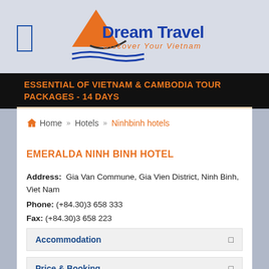[Figure (logo): Dream Travel logo with orange triangle/arrow icon and blue 'Dream Travel' text, orange italic 'Discover Your Vietnam' tagline]
ESSENTIAL OF VIETNAM & CAMBODIA TOUR PACKAGES - 14 DAYS
Home » Hotels » Ninhbinh hotels
EMERALDA NINH BINH HOTEL
Address: Gia Van Commune, Gia Vien District, Ninh Binh, Viet Nam
Phone: (+84.30)3 658 333
Fax: (+84.30)3 658 223
Location: Ninhbinh hotels
Accommodation
Price & Booking
RELATED HOTELS